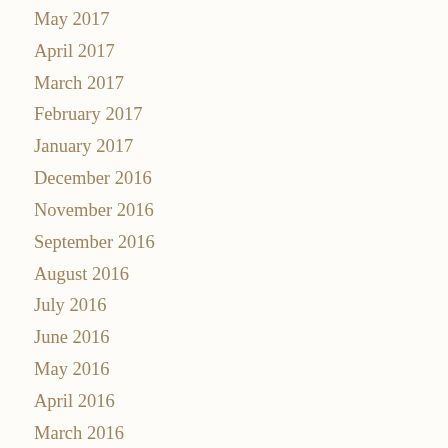May 2017
April 2017
March 2017
February 2017
January 2017
December 2016
November 2016
September 2016
August 2016
July 2016
June 2016
May 2016
April 2016
March 2016
February 2016
January 2016
December 2015
November 2015
October 2015
September 2015
August 2015
July 2015